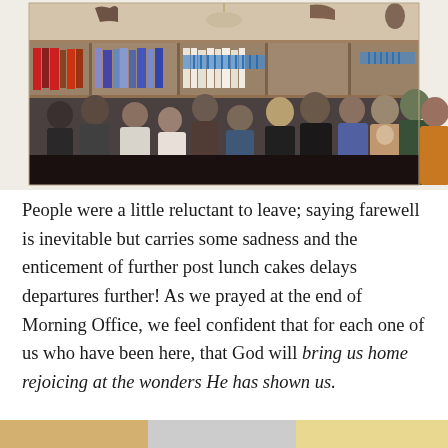[Figure (photo): A group photo of approximately 20 people standing together in a room with built-in bookshelves in the background. Decorative animal figurines and a chandelier are visible on top of the shelves. The group includes men, women, and a baby being held. The photo appears to be taken at an indoor gathering.]
People were a little reluctant to leave; saying farewell is inevitable but carries some sadness and the enticement of further post lunch cakes delays departures further! As we prayed at the end of Morning Office, we feel confident that for each one of us who have been here, that God will bring us home rejoicing at the wonders He has shown us.
[Figure (photo): Partial view of another photo visible at the bottom of the page, showing yellow and grey colored areas.]